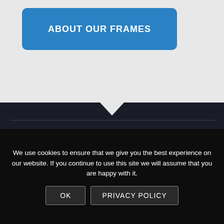ABOUT OUR FRAMES
Customer Service
Contact Us
We use cookies to ensure that we give you the best experience on our website. If you continue to use this site we will assume that you are happy with it.
OK
PRIVACY POLICY